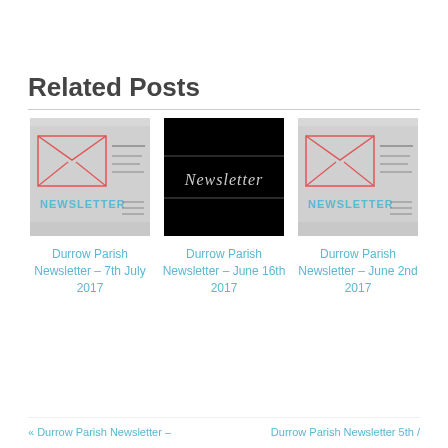Related Posts
[Figure (photo): Newsletter image with envelope sketch and text NEWSLETTER on gray background]
[Figure (photo): Black background with white cursive text 'Newsletter']
[Figure (photo): Newsletter image with envelope sketch and text NEWSLETTER on gray background]
Durrow Parish Newsletter – 7th July 2017
Durrow Parish Newsletter – June 16th 2017
Durrow Parish Newsletter – June 2nd 2017
« Durrow Parish Newsletter –        Durrow Parish Newsletter 5th /